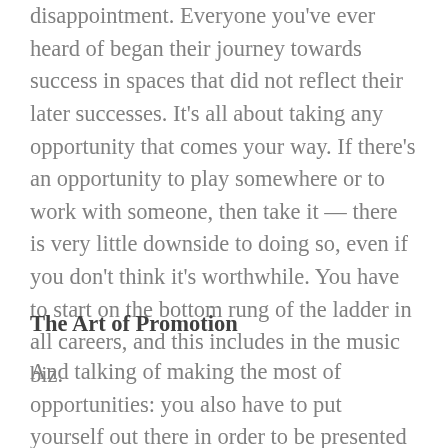disappointment. Everyone you've ever heard of began their journey towards success in spaces that did not reflect their later successes. It's all about taking any opportunity that comes your way. If there's an opportunity to play somewhere or to work with someone, then take it — there is very little downside to doing so, even if you don't think it's worthwhile. You have to start on the bottom rung of the ladder in all careers, and this includes in the music biz.
The Art of Promotion
And talking of making the most of opportunities: you also have to put yourself out there in order to be presented with those opportunities. Some people are natural self-promoters; for others, it's more of a learned